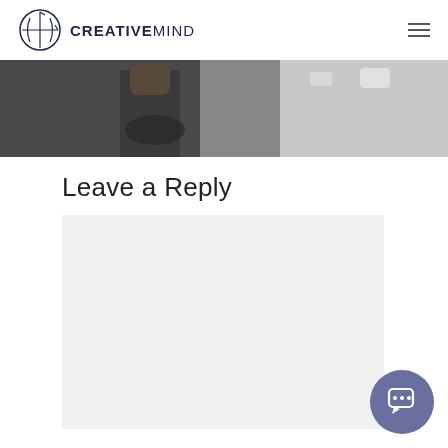CREATIVEMIND
[Figure (photo): Partial photo of a person, cropped hero banner at top of page]
Leave a Reply
[Figure (screenshot): Empty comment/reply text area input box with light gray background]
[Figure (other): Purple circular chat/message button in bottom right corner]